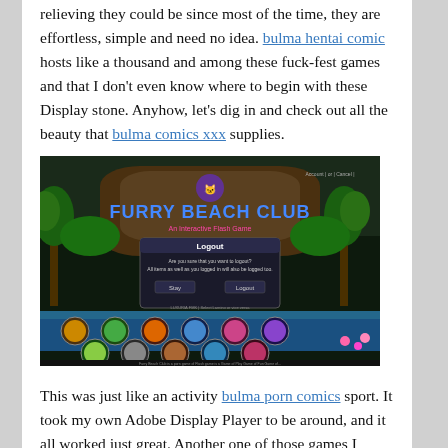relieving they could be since most of the time, they are effortless, simple and need no idea. bulma hentai comic hosts like a thousand and among these fuck-fest games and that I don't even know where to begin with these Display stone. Anyhow, let's dig in and check out all the beauty that bulma comics xxx supplies.
[Figure (screenshot): Screenshot of Furry Beach Club website showing a logout dialog over a colorful animated beach scene with furry character avatars]
This was just like an activity bulma porn comics sport. It took my own Adobe Display Player to be around, and it all worked just great. Another one of those games I attempted out was a puzzle game.